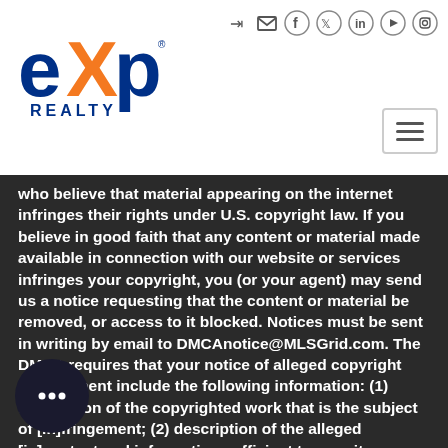[Figure (logo): eXp Realty logo - blue and orange brand mark with 'eXp' text and 'REALTY' underneath]
Navigation icons: login, mail, facebook, twitter, linkedin, youtube, instagram; hamburger menu button
who believe that material appearing on the internet infringes their rights under U.S. copyright law. If you believe in good faith that any content or material made available in connection with our website or services infringes your copyright, you (or your agent) may send us a notice requesting that the content or material be removed, or access to it blocked. Notices must be sent in writing by email to DMCAnotice@MLSGrid.com. The DMCA requires that your notice of alleged copyright infringement include the following information: (1) description of the copyrighted work that is the subject of [in]fringement; (2) description of the alleged [in]content and information sufficient to permit us [to locate the work]; (3) [contact information for...]